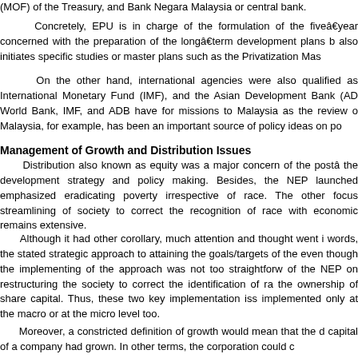(MOF) of the Treasury, and Bank Negara Malaysia or central bank.
Concretely, EPU is in charge of the formulation of the five‑year concerned with the preparation of the long‑term development plans b also initiates specific studies or master plans such as the Privatization Mas
On the other hand, international agencies were also qualified as International Monetary Fund (IMF), and the Asian Development Bank (AD World Bank, IMF, and ADB have for missions to Malaysia as the review o Malaysia, for example, has been an important source of policy ideas on po
Management of Growth and Distribution Issues
Distribution also known as equity was a major concern of the postâ the development strategy and policy making. Besides, the NEP launched emphasized eradicating poverty irrespective of race. The other focus streamlining of society to correct the recognition of race with economic remains extensive.
Although it had other corollary, much attention and thought went i words, the stated strategic approach to attaining the goals/targets of the even though the implementing of the approach was not too straightforw of the NEP on restructuring the society to correct the identification of ra the ownership of share capital. Thus, these two key implementation iss implemented only at the macro or at the micro level too.
Moreover, a constricted definition of growth would mean that the d capital of a company had grown. In other terms, the corporation could c